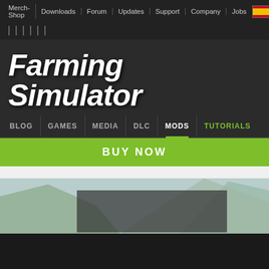Merch-Shop | Downloads | Forum | Updates | Support | Company | Jobs
Farming Simulator
BLOG | GAMES | MEDIA | DLC | MODS | TUTORIALS
BUY NOW
[Figure (photo): Mountain landscape background image with dark semi-transparent overlay panel]
OK